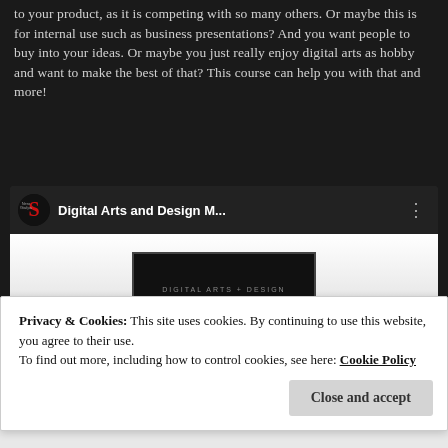to your product, as it is competing with so many others. Or maybe this is for internal use such as business presentations? And you want people to buy into your ideas. Or maybe you just really enjoy digital arts as hobby and want to make the best of that? This course can help you with that and more!
[Figure (screenshot): YouTube-style video embed showing 'Digital Arts and Design M...' with a channel icon (red gothic S logo) and a thumbnail displaying 'DIGITAL ARTS + DESIGN master' text on dark background]
Privacy & Cookies: This site uses cookies. By continuing to use this website, you agree to their use.
To find out more, including how to control cookies, see here: Cookie Policy